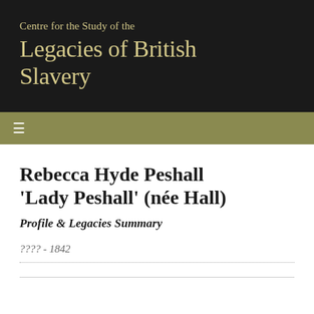Centre for the Study of the Legacies of British Slavery
Rebecca Hyde Peshall 'Lady Peshall' (née Hall)
Profile & Legacies Summary
???? - 1842